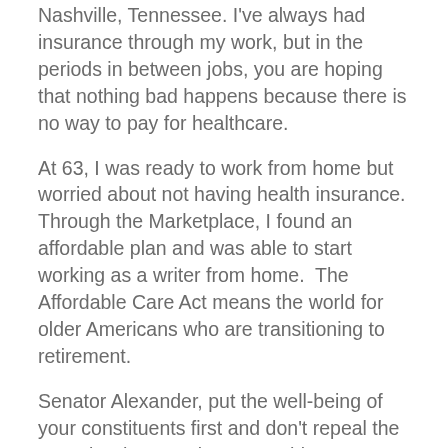...Nashville, Tennessee. I've always had insurance through my work, but in the periods in between jobs, you are hoping that nothing bad happens because there is no way to pay for healthcare.
At 63, I was ready to work from home but worried about not having health insurance. Through the Marketplace, I found an affordable plan and was able to start working as a writer from home. The Affordable Care Act means the world for older Americans who are transitioning to retirement.
Senator Alexander, put the well-being of your constituents first and don't repeal the ACA: it's the most important thing we can do to make ourselves and our societies stronger. So many Americans are doing everything they can to keep themselves well. You should be helping us, not making things harder.
There are millions of seniors who benefit from the